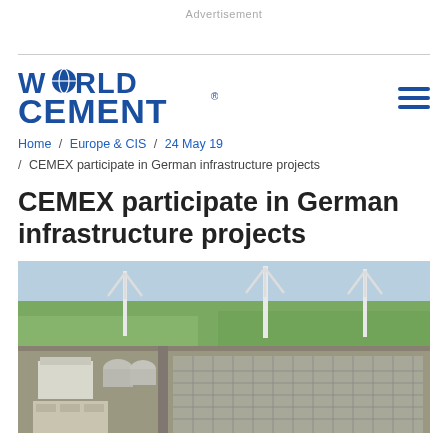Advertisement
[Figure (logo): World Cement logo in blue]
Home / Europe & CIS / 24 May 19 / CEMEX participate in German infrastructure projects
CEMEX participate in German infrastructure projects
[Figure (photo): Aerial photograph of a large industrial/infrastructure facility in Germany with wind turbines visible in the background, surrounded by green fields.]